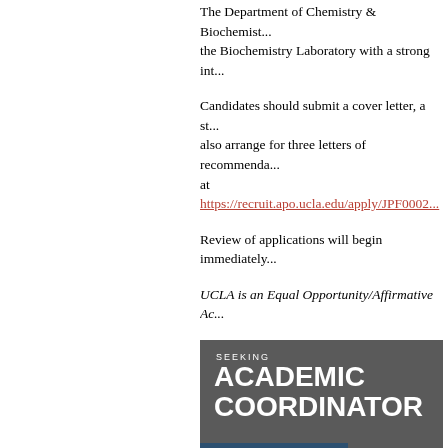The Department of Chemistry & Biochemist... the Biochemistry Laboratory with a strong int...
Candidates should submit a cover letter, a st... also arrange for three letters of recommenda... at https://recruit.apo.ucla.edu/apply/JPF0002...
Review of applications will begin immediately...
UCLA is an Equal Opportunity/Affirmative Ac...
[Figure (illustration): Advertisement banner for Seeking Academic Coordinator for Educational Programs with photo of students in lab and READ MORE >> text]
Academic Coordinator
The Department of Chemistry and Biochemis... and coordinate educational programs and ini... (October) of 2013. More Information >>